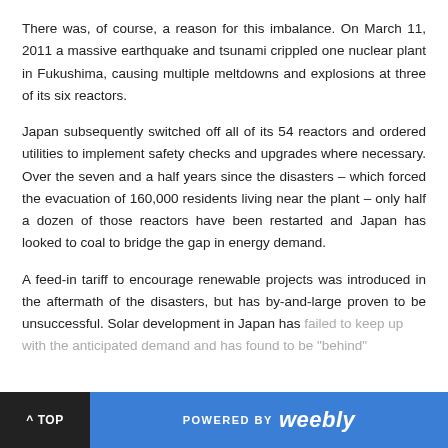There was, of course, a reason for this imbalance. On March 11, 2011 a massive earthquake and tsunami crippled one nuclear plant in Fukushima, causing multiple meltdowns and explosions at three of its six reactors.
Japan subsequently switched off all of its 54 reactors and ordered utilities to implement safety checks and upgrades where necessary. Over the seven and a half years since the disasters – which forced the evacuation of 160,000 residents living near the plant – only half a dozen of those reactors have been restarted and Japan has looked to coal to bridge the gap in energy demand.
A feed-in tariff to encourage renewable projects was introduced in the aftermath of the disasters, but has by-and-large proven to be unsuccessful. Solar development in Japan has failed to keep up with the anticipated demand and has found to be "behind"
^ TOP   POWERED BY weebly